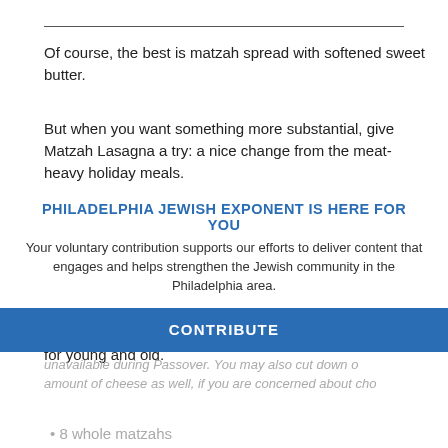Of course, the best is matzah spread with softened sweet butter.
But when you want something more substantial, give Matzah Lasagna a try: a nice change from the meat-heavy holiday meals.
Mock Shepherd's Pie is a good way to "use up" soup chicken that nobody ever seems to feel like eating.
And Matzah-Wine Chocolate Cake is an Israeli favorite for young and old.
PHILADELPHIA JEWISH EXPONENT IS HERE FOR YOU
Your voluntary contribution supports our efforts to deliver content that engages and helps strengthen the Jewish community in the Philadelphia area.
CONTRIBUTE
unavailable during Passover. You may also cut down o amount of cheese as well, if you are concerned about cho
8 whole matzahs